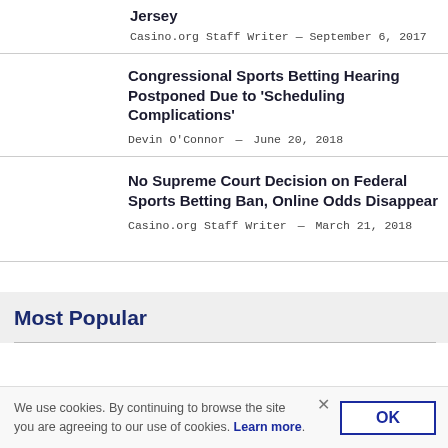Jersey
Casino.org Staff Writer — September 6, 2017
Congressional Sports Betting Hearing Postponed Due to 'Scheduling Complications'
Devin O'Connor — June 20, 2018
No Supreme Court Decision on Federal Sports Betting Ban, Online Odds Disappear
Casino.org Staff Writer — March 21, 2018
Most Popular
We use cookies. By continuing to browse the site you are agreeing to our use of cookies. Learn more.